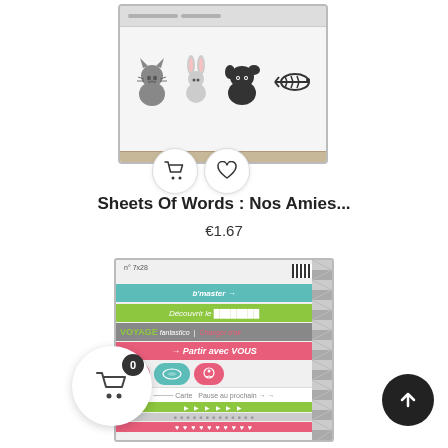[Figure (photo): Product image showing a sheet of animal-themed stickers with cat, rabbit, dog, and fish skeleton icons, with a cart and heart button overlay]
Sheets Of Words : Nos Amies...
€1.67
[Figure (photo): Product image showing a colorful sheet of French travel-themed word stickers with phrases like 'b'master', 'VOYAGE', 'Partir avec VOUS', 'L'AVENTURE AU BOUT DU CHEMIN', 'De l'autre côté du globe', in teal, green, pink, and grey colors]
[Figure (other): Shopping cart icon with badge showing 0 items, circular white button]
[Figure (other): Up arrow navigation button, dark circular button]